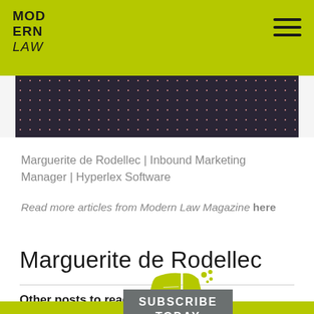MODERN LAW
[Figure (photo): Partial photo of a person wearing a dark patterned top, cropped at shoulder level]
Marguerite de Rodellec | Inbound Marketing Manager | Hyperlex Software
Read more articles from Modern Law Magazine here
Marguerite de Rodellec
Other posts to read
[Figure (logo): Modern Law magazine lime-green logo with stylized book/pages icon]
[Figure (other): Subscribe Today button overlay in grey]